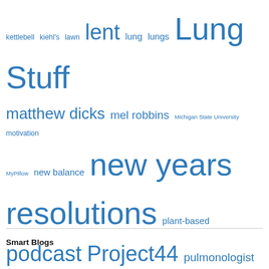[Figure (infographic): Tag cloud with words in various sizes in blue color. Larger words indicate higher frequency/importance. Words include: kettlebell, kiehl's, lawn, lent, lung, lungs, Lung Stuff, matthew dicks, mel robbins, Michigan State University, motivation, MyPillow, new balance, new years resolutions, plant-based, podcast, Project44, pulmonologist, resolution-a-day, ResolutionADay, sales, salsa, scott westerman, seth godin, sleep, soccer, social media, spunkybean, survivor, the bachelor, the moth, things i love, Ties, tim ferriss, Twitter, vacation, weezer, whole30, woodward dream cruise, write, writing]
Smart Blogs